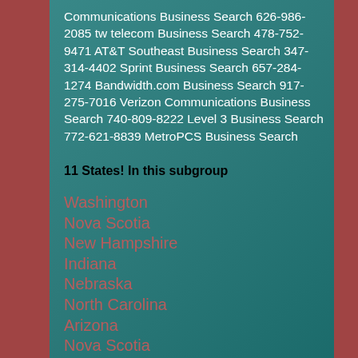Communications Business Search 626-986-2085 tw telecom Business Search 478-752-9471 AT&T Southeast Business Search 347-314-4402 Sprint Business Search 657-284-1274 Bandwidth.com Business Search 917-275-7016 Verizon Communications Business Search 740-809-8222 Level 3 Business Search 772-621-8839 MetroPCS Business Search
11 States! In this subgroup
Washington
Nova Scotia
New Hampshire
Indiana
Nebraska
North Carolina
Arizona
Nova Scotia
Dela...